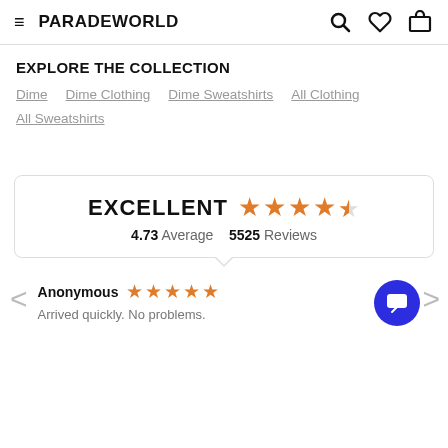PARADEWORLD
EXPLORE THE COLLECTION
Dime
Dime Clothing
Dime Sweatshirts
All Clothing
All Sweatshirts
EXCELLENT 4.73 Average 5525 Reviews
Anonymous — Arrived quickly. No problems.